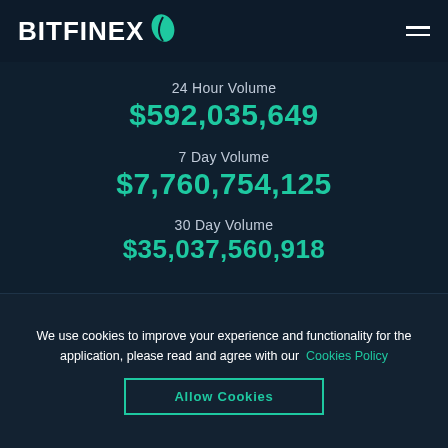BITFINEX
24 Hour Volume
$592,035,649
7 Day Volume
$7,760,754,125
30 Day Volume
$35,037,560,918
We use cookies to improve your experience and functionality for the application, please read and agree with our Cookies Policy
Allow Cookies